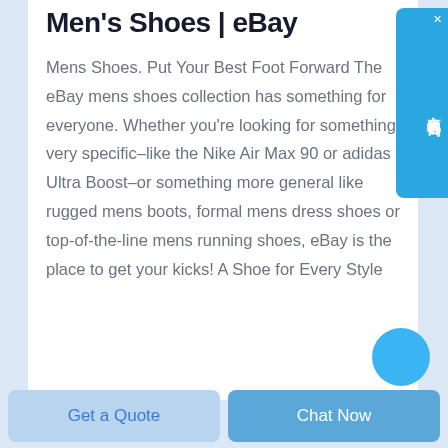Men's Shoes | eBay
Mens Shoes. Put Your Best Foot Forward The eBay mens shoes collection has something for everyone. Whether you're looking for something very specific–like the Nike Air Max 90 or adidas Ultra Boost–or something more general like rugged mens boots, formal mens dress shoes or top-of-the-line mens running shoes, eBay is the place to get your kicks! A Shoe for Every Style
[Figure (other): Blue floating chat widget on right side with Chinese characters 在线咨询 (Online Consultation) and a close X button]
[Figure (other): Partially visible blue circular button at bottom right of content area]
Get a Quote
Chat Now